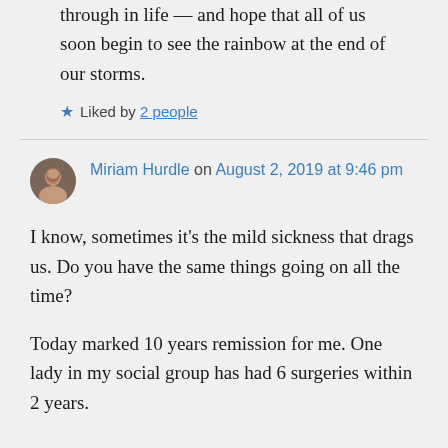through in life — and hope that all of us soon begin to see the rainbow at the end of our storms.
★ Liked by 2 people
Miriam Hurdle on August 2, 2019 at 9:46 pm
I know, sometimes it's the mild sickness that drags us. Do you have the same things going on all the time?
Today marked 10 years remission for me. One lady in my social group has had 6 surgeries within 2 years.